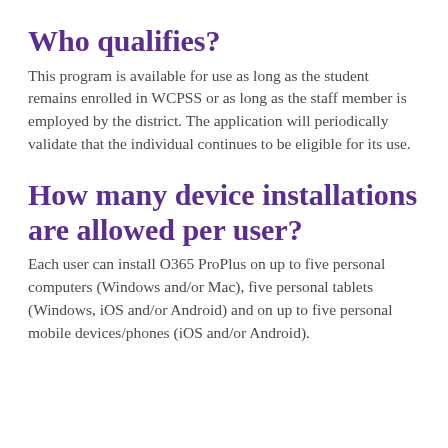Who qualifies?
This program is available for use as long as the student remains enrolled in WCPSS or as long as the staff member is employed by the district. The application will periodically validate that the individual continues to be eligible for its use.
How many device installations are allowed per user?
Each user can install O365 ProPlus on up to five personal computers (Windows and/or Mac), five personal tablets (Windows, iOS and/or Android) and on up to five personal mobile devices/phones (iOS and/or Android).